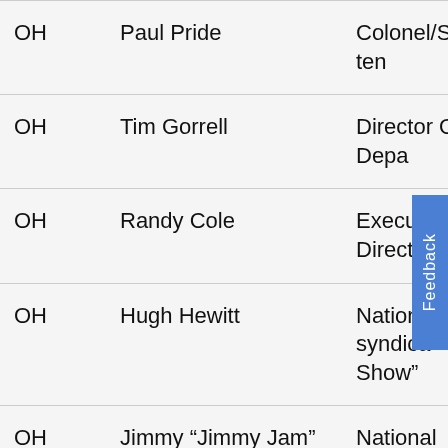| State | Name | Title |
| --- | --- | --- |
| OH | Paul Pride | Colonel/Superinten |
| OH | Tim Gorrell | Director Ohio Depa |
| OH | Randy Cole | Executive Director |
| OH | Hugh Hewitt | National syndica Show” |
| OH | Jimmy “Jimmy Jam” Shaheen | National syndica Show” |
| OH | Hon. Michael Newman | United States Magi Association |
| OK | Troy Aikman | Dallas Cowboys qu |